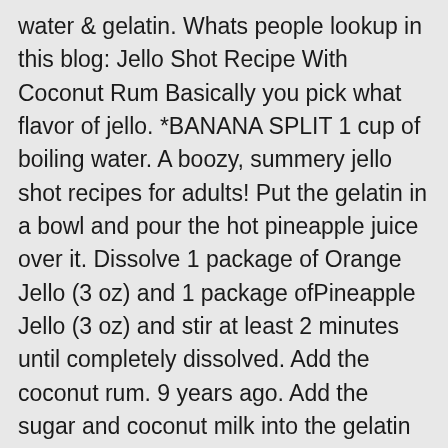water & gelatin. Whats people lookup in this blog: Jello Shot Recipe With Coconut Rum Basically you pick what flavor of jello. *BANANA SPLIT 1 cup of boiling water. A boozy, summery jello shot recipes for adults! Put the gelatin in a bowl and pour the hot pineapple juice over it. Dissolve 1 package of Orange Jello (3 oz) and 1 package ofPineapple Jello (3 oz) and stir at least 2 minutes until completely dissolved. Add the coconut rum. 9 years ago. Add the sugar and coconut milk into the gelatin mixture, stirring well. Add 1/2 cup of cold water, 1/4 cup of Coconut Rum , and 1/4 cup of Banana Liqueur. How to make coconut rum jello shots recipe snapguide berry blue malibu jello shots recipe entertaining diva recipes pina colada jello shots bread booze bacon these blue hawaiian jello shots with